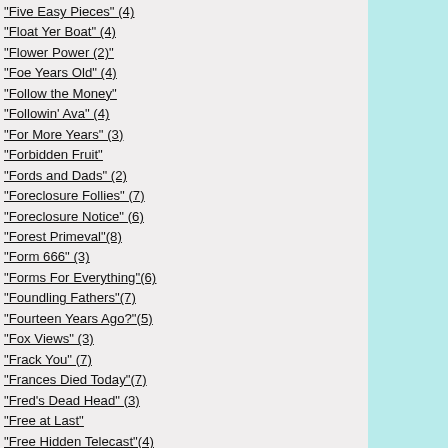"Five Easy Pieces" (4)
"Float Yer Boat" (4)
"Flower Power (2)"
"Foe Years Old" (4)
"Follow the Money"
"Followin' Ava" (4)
"For More Years" (3)
"Forbidden Fruit"
"Fords and Dads" (2)
"Foreclosure Follies" (7)
"Foreclosure Notice" (6)
"Forest Primeval"(8)
"Form 666" (3)
"Forms For Everything"(6)
"Foundling Fathers"(7)
"Fourteen Years Ago?"(5)
"Fox Views" (3)
"Frack You" (7)
"Frances Died Today"(7)
"Fred's Dead Head" (3)
"Free at Last"
"Free Hidden Telecast"(4)
"Freedom? Hell No" (3)
"Friend by Your Side" (3)
"Friend by your Side" (4)
"Friendly Persuasion" (5)
"Friends of Bill" (7)
"Frist Friends"
insecurity who, if dear reader will forgive the derogatory nature of a physical reference, looks like "Walking Death," reflected upon his "gut" feeling that a terrorist strike is imminent.  Frodo, who would look terribly out of place dressed in black and carrying a scythe, has not been able to shake the fact that the Month of August stares in the face of Middle Earth, and that it portends all sorts of danger signals.  It is the four-week period of time predating the issuance of the "Petraeus Report," that begins to bear a historical reference akin to the "Zimmerman Note" or the "Dreyfus Affair."  Merely listing